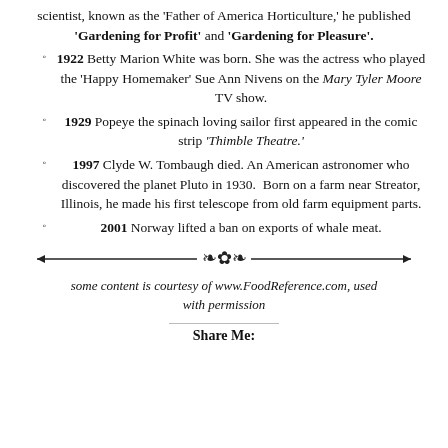scientist, known as the 'Father of America Horticulture,' he published 'Gardening for Profit' and 'Gardening for Pleasure'.
1922 Betty Marion White was born. She was the actress who played the 'Happy Homemaker' Sue Ann Nivens on the Mary Tyler Moore TV show.
1929 Popeye the spinach loving sailor first appeared in the comic strip 'Thimble Theatre.'
1997 Clyde W. Tombaugh died. An American astronomer who discovered the planet Pluto in 1930. Born on a farm near Streator, Illinois, he made his first telescope from old farm equipment parts.
2001 Norway lifted a ban on exports of whale meat.
[Figure (illustration): Decorative horizontal divider with ornamental flourish in center and arrows on each end]
some content is courtesy of www.FoodReference.com, used with permission
Share Me: